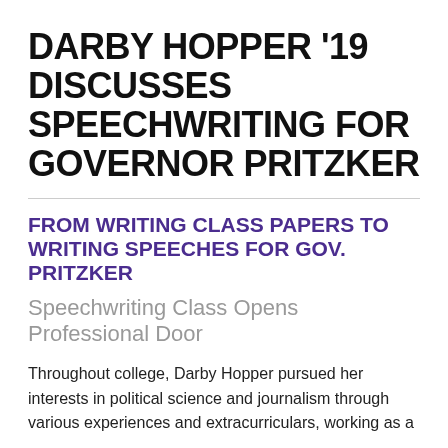DARBY HOPPER '19 DISCUSSES SPEECHWRITING FOR GOVERNOR PRITZKER
FROM WRITING CLASS PAPERS TO WRITING SPEECHES FOR GOV. PRITZKER
Speechwriting Class Opens Professional Door
Throughout college, Darby Hopper pursued her interests in political science and journalism through various experiences and extracurriculars, working as a